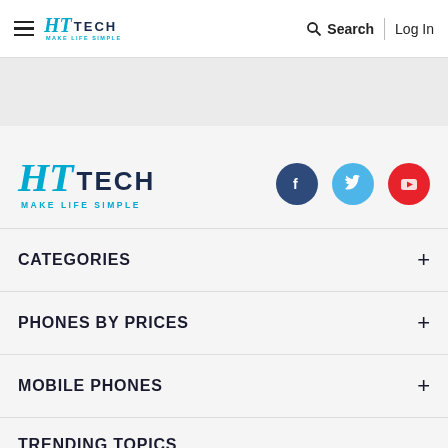HT TECH MAKE LIFE SIMPLE — Search | Log In
[Figure (logo): HT Tech Make Life Simple logo with social icons (Facebook, Twitter, YouTube)]
CATEGORIES +
PHONES BY PRICES +
MOBILE PHONES +
TRENDING TOPICS